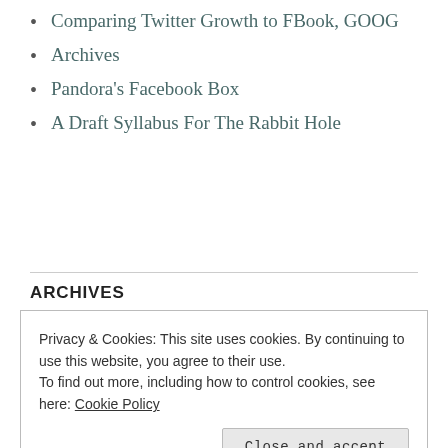Comparing Twitter Growth to FBook, GOOG
Archives
Pandora's Facebook Box
A Draft Syllabus For The Rabbit Hole
ARCHIVES
Privacy & Cookies: This site uses cookies. By continuing to use this website, you agree to their use.
To find out more, including how to control cookies, see here: Cookie Policy
Close and accept